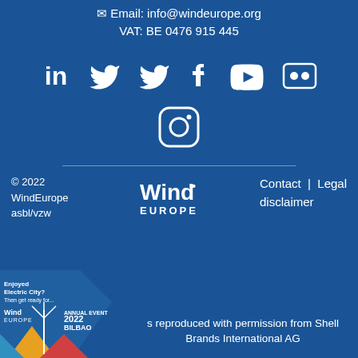Email: info@windeurope.org
VAT: BE 0476 915 445
[Figure (illustration): Social media icons row: LinkedIn, Twitter, Twitter, Facebook, YouTube, Flickr]
[Figure (illustration): Social media icon: Instagram]
© 2022 WindEurope asbl/vzw
[Figure (logo): WindEurope logo]
Contact | Legal disclaimer
[Figure (illustration): WindEurope Bilbao event banner overlay]
reproduced with permission from Shell Brands International AG